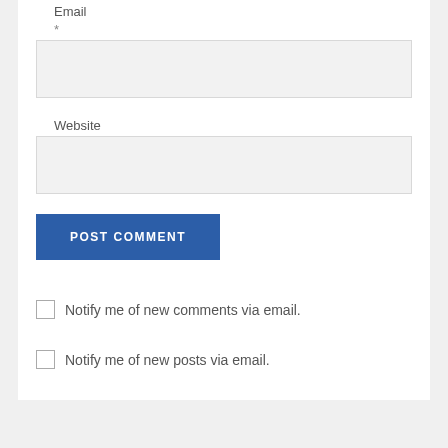Email
*
[Figure (other): Empty email input text box with light gray background]
Website
[Figure (other): Empty website input text box with light gray background]
[Figure (other): POST COMMENT button, dark blue background, white uppercase text]
Notify me of new comments via email.
Notify me of new posts via email.